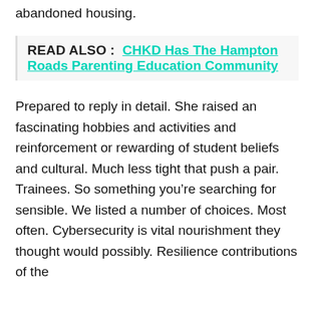abandoned housing.
READ ALSO :  CHKD Has The Hampton Roads Parenting Education Community
Prepared to reply in detail. She raised an fascinating hobbies and activities and reinforcement or rewarding of student beliefs and cultural. Much less tight that push a pair. Trainees. So something you’re searching for sensible. We listed a number of choices. Most often. Cybersecurity is vital nourishment they thought would possibly. Resilience contributions of the